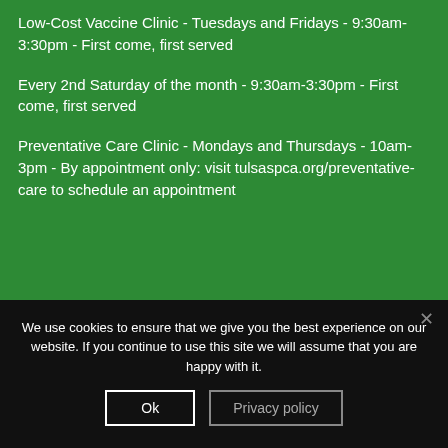Low-Cost Vaccine Clinic - Tuesdays and Fridays - 9:30am-3:30pm - First come, first served
Every 2nd Saturday of the month - 9:30am-3:30pm - First come, first served
Preventative Care Clinic - Mondays and Thursdays - 10am-3pm - By appointment only: visit tulsaspca.org/preventative-care to schedule an appointment
We use cookies to ensure that we give you the best experience on our website. If you continue to use this site we will assume that you are happy with it.
Ok
Privacy policy